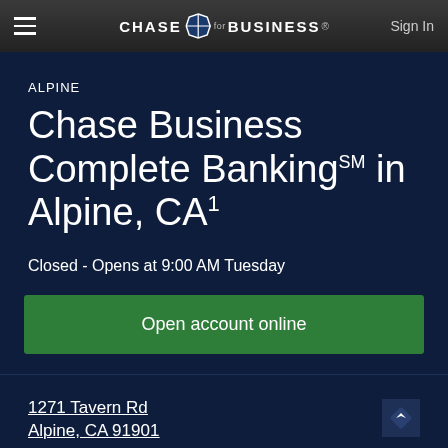CHASE for BUSINESS® Sign In
ALPINE
Chase Business Complete BankingSM in Alpine, CA1
Closed - Opens at 9:00 AM Tuesday
Open account online
1271 Tavern Rd Alpine, CA 91901
(619) 445-2630